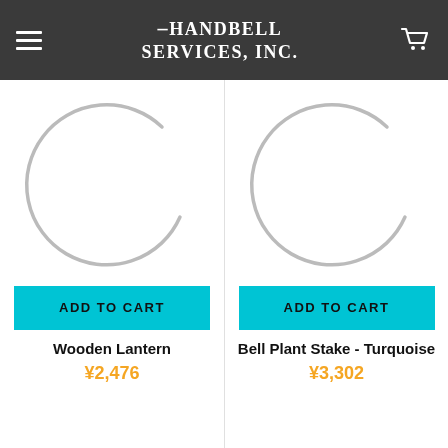Handbell Services, Inc.
[Figure (illustration): Product image placeholder - loading spinner arc for Wooden Lantern]
ADD TO CART
Wooden Lantern
¥2,476
[Figure (illustration): Product image placeholder - loading spinner arc for Bell Plant Stake - Turquoise]
ADD TO CART
Bell Plant Stake - Turquoise
¥3,302